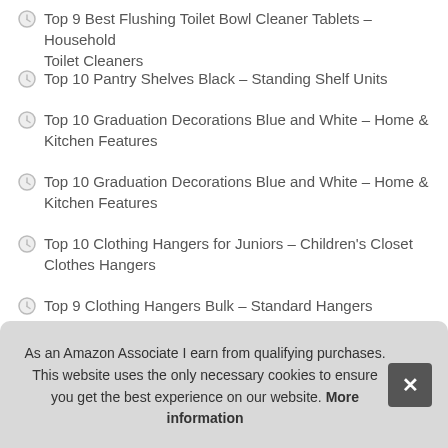Top 9 Best Flushing Toilet Bowl Cleaner Tablets – Household Toilet Cleaners
Top 10 Pantry Shelves Black – Standing Shelf Units
Top 10 Graduation Decorations Blue and White – Home & Kitchen Features
Top 10 Graduation Decorations Blue and White – Home & Kitchen Features
Top 10 Clothing Hangers for Juniors – Children's Closet Clothes Hangers
Top 9 Clothing Hangers Bulk – Standard Hangers
Top 10 Garage Cabinets with Doors and Shelves – Storage Cab...
As an Amazon Associate I earn from qualifying purchases. This website uses the only necessary cookies to ensure you get the best experience on our website. More information